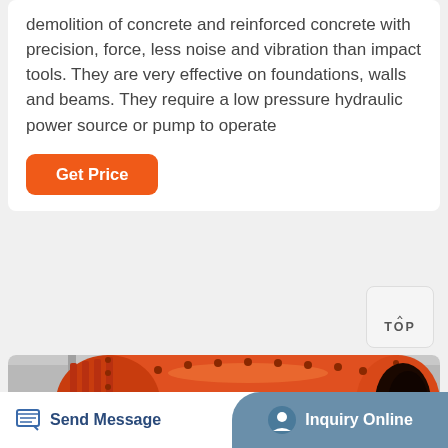demolition of concrete and reinforced concrete with precision, force, less noise and vibration than impact tools. They are very effective on foundations, walls and beams. They require a low pressure hydraulic power source or pump to operate
[Figure (other): Orange industrial ball mill machine in a factory setting]
Send Message
Inquiry Online